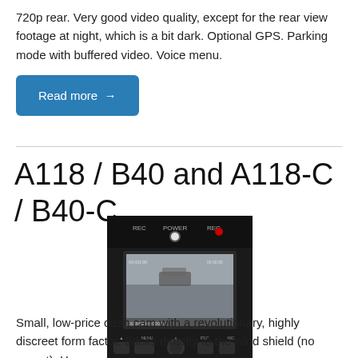720p rear. Very good video quality, except for the rear view footage at night, which is a bit dark. Optional GPS. Parking mode with buffered video. Voice menu.
Read more →
A118 / B40 and A118-C / B40-C
[Figure (photo): A dash cam device (A118/B40 model) shown front-facing, black rectangular device with a small screen displaying a camera view, and control buttons at the bottom.]
Small, low-price dash cam with a revolutionary, highly discreet form factor. Sticks directly to the wind shield (no mount). Huge